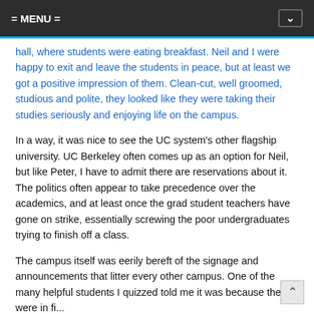= MENU =
hall, where students were eating breakfast. Neil and I were happy to exit and leave the students in peace, but at least we got a positive impression of them. Clean-cut, well groomed, studious and polite, they looked like they were taking their studies seriously and enjoying life on the campus.
In a way, it was nice to see the UC system's other flagship university. UC Berkeley often comes up as an option for Neil, but like Peter, I have to admit there are reservations about it. The politics often appear to take precedence over the academics, and at least once the grad student teachers have gone on strike, essentially screwing the poor undergraduates trying to finish off a class.
The campus itself was eerily bereft of the signage and announcements that litter every other campus. One of the many helpful students I quizzed told me it was because they were in fi...